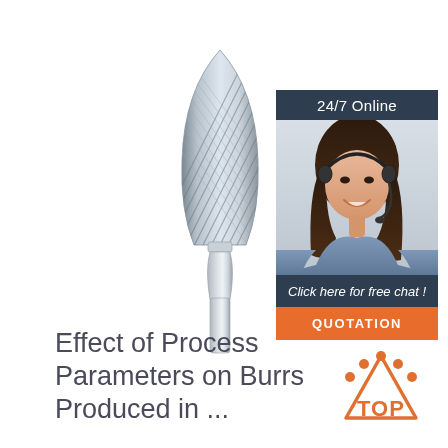[Figure (photo): A tungsten carbide rotary burr tool — tapered cylindrical shape with cross-cut flutes on the head and a narrow cylindrical shank. Silver/metallic finish.]
[Figure (infographic): Advertisement panel with dark navy background. Top bar reads '24/7 Online'. Middle section shows a smiling woman with a headset. Bottom dark bar reads 'Click here for free chat !' followed by an orange button reading 'QUOTATION'.]
Effect of Process Parameters on Burrs Produced in ...
[Figure (logo): Orange 'TOP' logo with dots arranged in a triangular arch above the word TOP in orange bold text.]